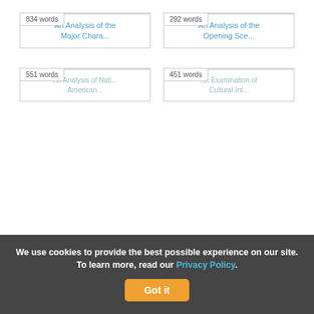[Figure (screenshot): Four document cards in a 2x2 grid. Top-left card shows '834 words' badge and title 'An Analysis of the Major Chara...'. Top-right card shows '292 words' badge and title 'An Analysis of the Opening Sce...'. Bottom-left card shows '551 words' badge and partial title 'An Analysis of Nati... American...'. Bottom-right card shows '451 words' badge and partial title 'An Examination of Cultural Int...'.]
We use cookies to provide the best possible experience on our site. To learn more, read our Privacy Policy.
Got it